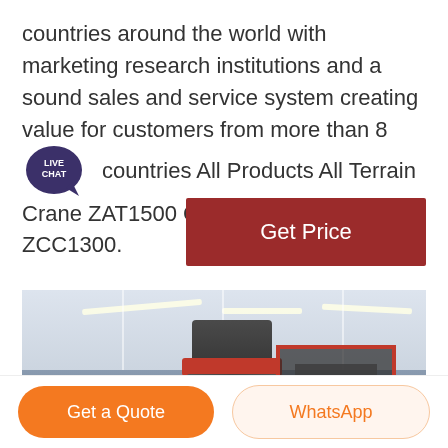countries around the world with marketing research institutions and a sound sales and service system creating value for customers from more than 80 countries All Products All Terrain Crane ZAT1500 Crawler Crane ZCC1300.
[Figure (other): Live Chat bubble icon - dark purple circular badge with LIVE CHAT text]
[Figure (other): Get Price button - dark red/maroon rectangular button]
[Figure (photo): Industrial machinery inside a large warehouse/factory building. Shows large dark grey vertical cylindrical milling or grinding machine in center, smaller machine on left, and red-framed machinery on right. White arched ceiling with fluorescent lights visible.]
[Figure (other): Get a Quote orange rounded button and WhatsApp light orange rounded button at bottom of page]